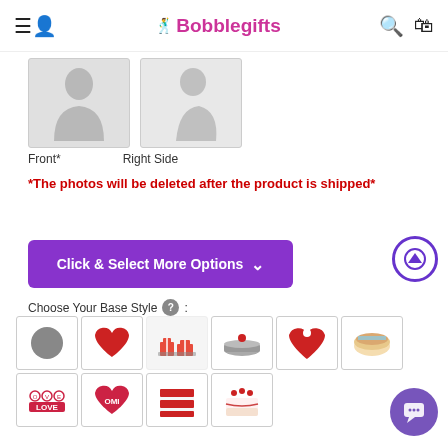Bobblegifts
[Figure (photo): Photo upload placeholder boxes - Front and Right Side silhouette placeholders]
Front*    Right Side
*The photos will be deleted after the product is shipped*
[Figure (screenshot): Click & Select More Options button - purple button with chevron]
Choose Your Base Style ? :
[Figure (infographic): Base style selection grid with 10 options: plain circle, red heart, gift boxes, cake platform, heart with pin, striped disc, LOVE letters base, OMI heart, layered cake, strawberry cake]